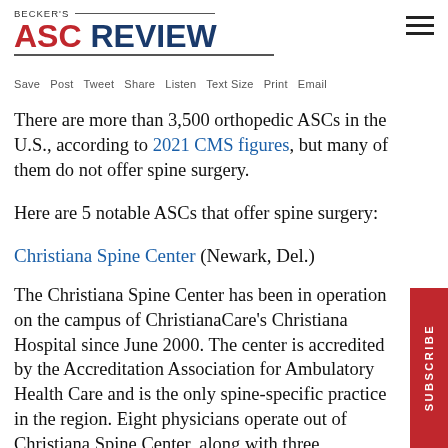BECKER'S ASC REVIEW
Save Post Tweet Share Listen Text Size Print Email
There are more than 3,500 orthopedic ASCs in the U.S., according to 2021 CMS figures, but many of them do not offer spine surgery.
Here are 5 notable ASCs that offer spine surgery:
Christiana Spine Center (Newark, Del.)
The Christiana Spine Center has been in operation on the campus of ChristianaCare's Christiana Hospital since June 2000. The center is accredited by the Accreditation Association for Ambulatory Health Care and is the only spine-specific practice in the region. Eight physicians operate out of Christiana Spine Center, along with three physician assistants and four